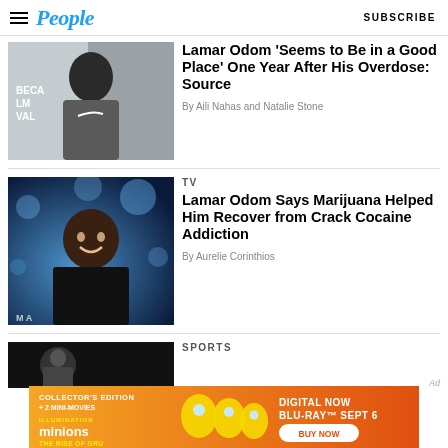People | SUBSCRIBE
[Figure (photo): Lamar Odom in a grey Nike hoodie at what appears to be the Tribeca Film Festival]
Lamar Odom 'Seems to Be in a Good Place' One Year After His Overdose: Source
By Aili Nahas and Natalie Stone
[Figure (photo): Lamar Odom smiling in a black jacket against a blue bokeh background]
TV
Lamar Odom Says Marijuana Helped Him Recover from Crack Cocaine Addiction
By Aurelie Corinthios
[Figure (photo): Partial sports image in dark background]
SPORTS
[Figure (infographic): Minions: The Rise of Gru advertisement banner - Collector's Edition + 2 Mini-Movies, Digital Now, Blu-ray Sept 6, Buy Now]